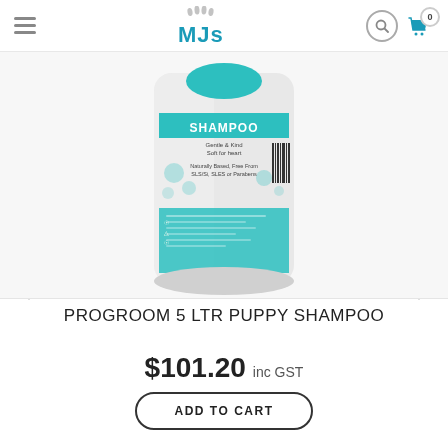MJS (logo) — navigation header with hamburger menu, search icon, and cart with 0 items
[Figure (photo): A large white 5-litre container of Progroom Puppy Shampoo. The label is teal/turquoise with bubble graphics. Text on label reads: SHAMPOO, Gentle & Kind, Soft for heart, Naturally Based, Free From SLS/Si, SLES or Parabens.]
PROGROOM 5 LTR PUPPY SHAMPOO
$101.20 inc GST
ADD TO CART